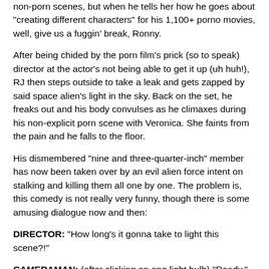non-porn scenes, but when he tells her how he goes about "creating different characters" for his 1,100+ porno movies, well, give us a fuggin' break, Ronny.
After being chided by the porn film's prick (so to speak) director at the actor's not being able to get it up (uh huh!), RJ then steps outside to take a leak and gets zapped by said space alien's light in the sky. Back on the set, he freaks out and his body convulses as he climaxes during his non-explicit porn scene with Veronica. She faints from the pain and he falls to the floor.
His dismembered "nine and three-quarter-inch" member has now been taken over by an evil alien force intent on stalking and killing them all one by one. The problem is, this comedy is not really very funny, though there is some amusing dialogue now and then:
DIRECTOR: "How long's it gonna take to light this scene?!"
CAMERAMAN: (after clicking on one light bulb) "Ready."